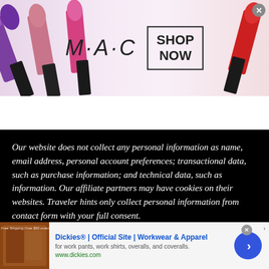[Figure (advertisement): MAC cosmetics banner ad showing colorful lipsticks on left and right, MAC italic logo in center, and SHOP NOW button in a rectangle box. Close button in upper right.]
[Figure (screenshot): Navigation bar with location pin icon on left and hamburger menu icon on right, on a light grey background.]
Our website does not collect any personal information as name, email address, personal account preferences; transactional data, such as purchase information; and technical data, such as information. Our affiliate partners may have cookies on their websites. Traveler hints only collect personal information from contact form with your full consent.
[Figure (advertisement): Dickies advertisement banner. Shows a brown leather product image on left, text 'Dickies® | Official Site | Workwear & Apparel' in blue bold, subtitle 'for work pants, work shirts, overalls, and coveralls.' and URL 'www.dickies.com' in green. Blue circle arrow button on right.]